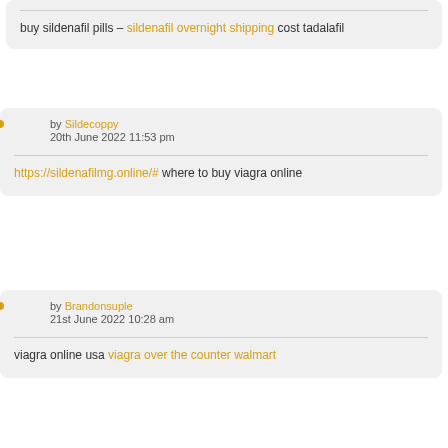buy sildenafil pills – sildenafil overnight shipping cost tadalafil
by Sildecoppy
20th June 2022 11:53 pm
https://sildenafilmg.online/# where to buy viagra online
by Brandonsuple
21st June 2022 10:28 am
viagra online usa viagra over the counter walmart